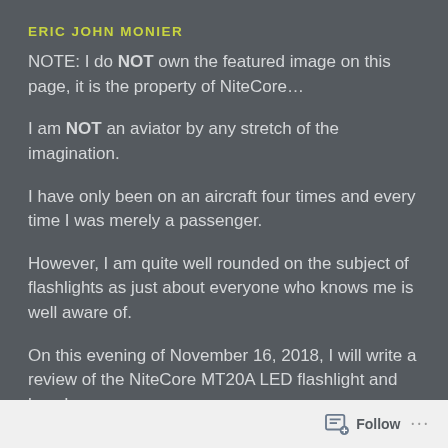ERIC JOHN MONIER
NOTE: I do NOT own the featured image on this page, it is the property of NiteCore…
I am NOT an aviator by any stretch of the imagination.
I have only been on an aircraft four times and every time I was merely a passenger.
However, I am quite well rounded on the subject of flashlights as just about everyone who knows me is well aware of.
On this evening of November 16, 2018, I will write a review of the NiteCore MT20A LED flashlight and how I
Follow ...